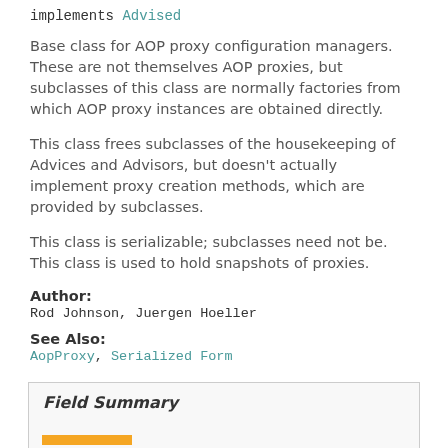implements Advised
Base class for AOP proxy configuration managers. These are not themselves AOP proxies, but subclasses of this class are normally factories from which AOP proxy instances are obtained directly.
This class frees subclasses of the housekeeping of Advices and Advisors, but doesn't actually implement proxy creation methods, which are provided by subclasses.
This class is serializable; subclasses need not be. This class is used to hold snapshots of proxies.
Author:
Rod Johnson, Juergen Hoeller
See Also:
AopProxy, Serialized Form
Field Summary